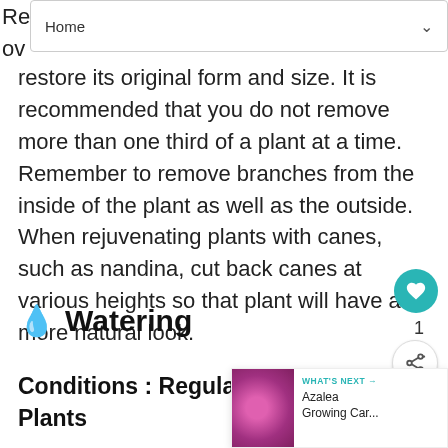Home
restore its original form and size. It is recommended that you do not remove more than one third of a plant at a time. Remember to remove branches from the inside of the plant as well as the outside. When rejuvenating plants with canes, such as nandina, cut back canes at various heights so that plant will have a more natural look.
💧 Watering
Conditions : Regular Moisture for Plants